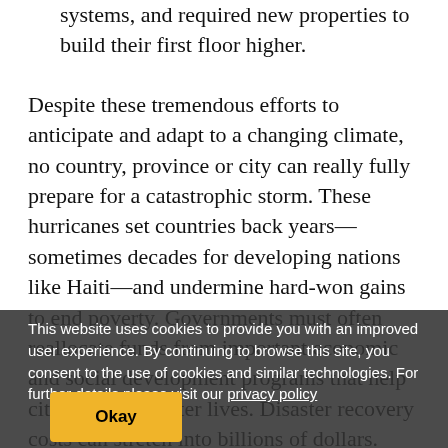systems, and required new properties to build their first floor higher.
Despite these tremendous efforts to anticipate and adapt to a changing climate, no country, province or city can really fully prepare for a catastrophic storm. These hurricanes set countries back years—sometimes decades for developing nations like Haiti—and undermine hard-won gains to end poverty. Governments must often reallocate funds from important economic and social development programs that help citizens build better lives. Disaster recovery costs can stretch into billions of dollars. Many communities are unable to recover, let alone rebuild, in time for the next hurricane.
This website uses cookies to provide you with an improved user experience. By continuing to browse this site, you consent to the use of cookies and similar technologies. For further details please visit our privacy policy